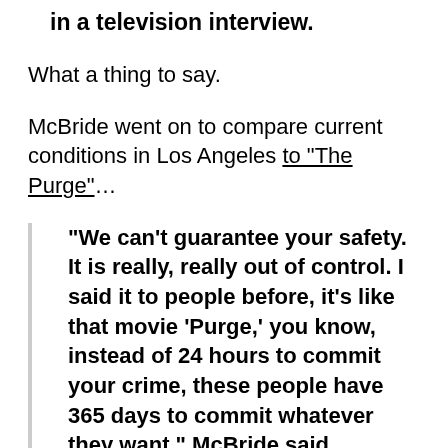union representing L.A. officers, said in a television interview.
What a thing to say.
McBride went on to compare current conditions in Los Angeles to “The Purge”…
“We can’t guarantee your safety. It is really, really out of control. I said it to people before, it’s like that movie ‘Purge,’ you know, instead of 24 hours to commit your crime, these people have 365 days to commit whatever they want,” McBride said